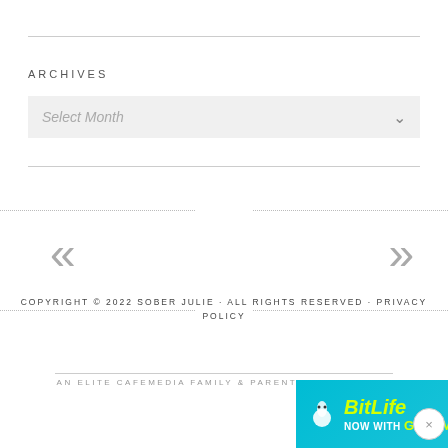ARCHIVES
Select Month
COPYRIGHT © 2022 SOBER JULIE · ALL RIGHTS RESERVED · PRIVACY POLICY
AN ELITE CAFEMEDIA FAMILY & PARENTING PUBLISHER
[Figure (screenshot): BitLife advertisement banner with 'NOW WITH GOD MODE' text on cyan gradient background]